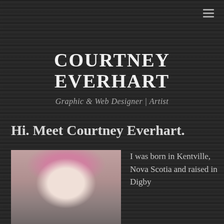[Figure (other): Hamburger menu icon (three horizontal lines) in the top-right corner]
COURTNEY EVERHART
Graphic & Web Designer | Artist
Hi. Meet Courtney Everhart.
[Figure (photo): Portrait photo of Courtney Everhart, a woman with pink hair and bangs, smiling, light background]
I was born in Kentville, Nova Scotia and raised in Digby